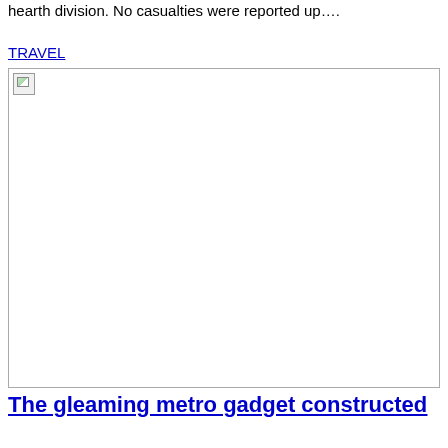hearth division.  No casualties were reported up….
TRAVEL
[Figure (photo): Broken/missing image placeholder in TRAVEL section]
The gleaming metro gadget constructed